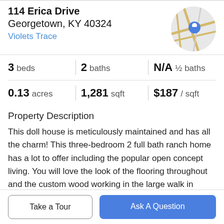114 Erica Drive
Georgetown, KY 40324
Violets Trace
[Figure (map): Circular map thumbnail showing street map with a blue location pin marker]
| 3 beds | 2 baths | N/A ½ baths |
| 0.13 acres | 1,281 sqft | $187 / sqft |
Property Description
This doll house is meticulously maintained and has all the charm! This three-bedroom 2 full bath ranch home has a lot to offer including the popular open concept living. You will love the look of the flooring throughout and the custom wood working in the large walk in laundry room and
Take a Tour
Ask A Question